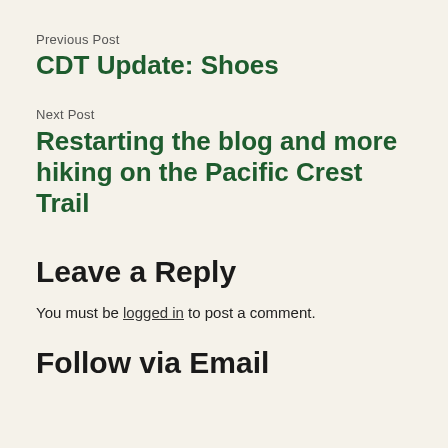Previous Post
CDT Update: Shoes
Next Post
Restarting the blog and more hiking on the Pacific Crest Trail
Leave a Reply
You must be logged in to post a comment.
Follow via Email